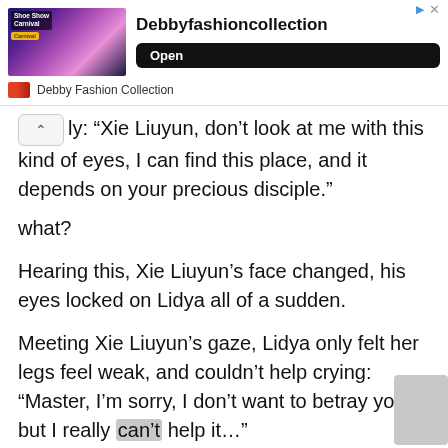[Figure (other): Advertisement banner for Debby Fashion Collection showing women in colorful clothing with 'Open' button]
ly: “Xie Liuyun, don’t look at me with this kind of eyes, I can find this place, and it depends on your precious disciple.”
what?
Hearing this, Xie Liuyun’s face changed, his eyes locked on Lidya all of a sudden.
Meeting Xie Liuyun’s gaze, Lidya only felt her legs feel weak, and couldn’t help crying: “Master, I’m sorry, I don’t want to betray you, but I really can’t help it…”